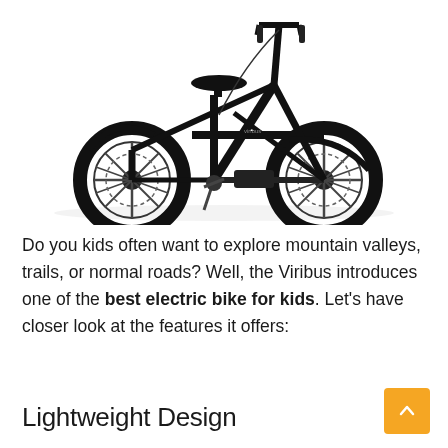[Figure (photo): A black Viribus folding electric bike with small wheels, disc brakes, a saddle seat, and a foldable frame, shown on a white background from a side-angle view.]
Do you kids often want to explore mountain valleys, trails, or normal roads? Well, the Viribus introduces one of the best electric bike for kids. Let's have closer look at the features it offers:
Lightweight Design